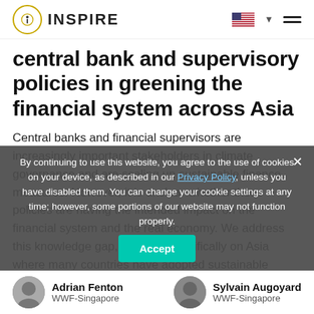INSPIRE
central bank and supervisory policies in greening the financial system across Asia
Central banks and financial supervisors are increasingly important stakeholders in climate governance and are scaling up sustainable finance measures. However, it is unclear whether these policies are having the intended impact on the financial system and the real economy. We address this knowledge gap, focusing specifically on Asia where many countries have adopted sustainable finance measures...
By continuing to use this website, you agree to the use of cookies on your device, as described in our Privacy Policy, unless you have disabled them. You can change your cookie settings at any time; however, some portions of our website may not function properly.
Adrian Fenton
WWF-Singapore
Sylvain Augoyard
WWF-Singapore